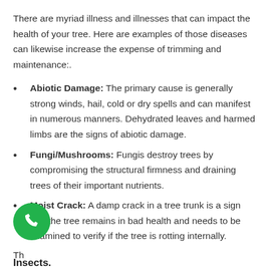There are myriad illness and illnesses that can impact the health of your tree. Here are examples of those diseases can likewise increase the expense of trimming and maintenance:.
Abiotic Damage: The primary cause is generally strong winds, hail, cold or dry spells and can manifest in numerous manners. Dehydrated leaves and harmed limbs are the signs of abiotic damage.
Fungi/Mushrooms: Fungis destroy trees by compromising the structural firmness and draining trees of their important nutrients.
Moist Crack: A damp crack in a tree trunk is a sign that the tree remains in bad health and needs to be examined to verify if the tree is rotting internally.
Insects.
There are numerous beneficial insects and animals that reside in trees. There are members of insects that can be major hazards,